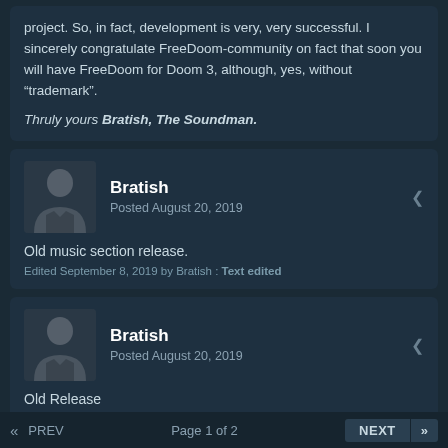project. So, in fact, development is very, very successful. I sincerely congratulate FreeDoom-community on fact that soon you will have FreeDoom for Doom 3, although, yes, without “trademark”.
Thruly yours Bratish, The Soundman.
Bratish
Posted August 20, 2019
Old music section release.
Edited September 8, 2019 by Bratish : Text edited
Bratish
Posted August 20, 2019
Old Release
Edited August 27, 2019 by Bratish
«  PREV    Page 1 of 2    NEXT  »